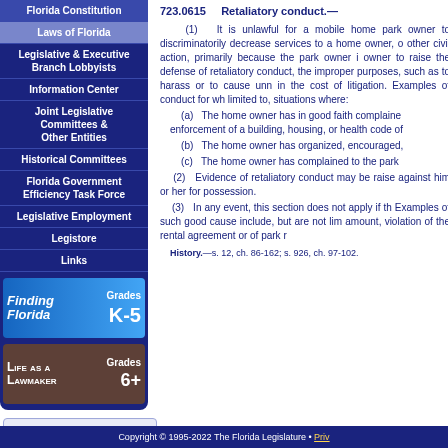Florida Constitution
Laws of Florida
Legislative & Executive Branch Lobbyists
Information Center
Joint Legislative Committees & Other Entities
Historical Committees
Florida Government Efficiency Task Force
Legislative Employment
Legistore
Links
[Figure (infographic): Interpreter Services for the Deaf and Hard of Hearing box]
[Figure (infographic): Finding Florida Grades K-5 educational resource banner]
[Figure (infographic): Life as a Lawmaker Grades 6+ educational resource banner]
723.0615    Retaliatory conduct.—
(1)    It is unlawful for a mobile home park owner to discriminatorily decrease services to a home owner, or other civil action, primarily because the park owner is owner to raise the defense of retaliatory conduct, the improper purposes, such as to harass or to cause unne in the cost of litigation. Examples of conduct for whi limited to, situations where:
(a)    The home owner has in good faith complained enforcement of a building, housing, or health code of
(b)    The home owner has organized, encouraged,
(c)    The home owner has complained to the park
(2)    Evidence of retaliatory conduct may be raised against him or her for possession.
(3)    In any event, this section does not apply if the Examples of such good cause include, but are not lim amount, violation of the rental agreement or of park r
History.—s. 12, ch. 86-162; s. 926, ch. 97-102.
Copyright © 1995-2022 The Florida Legislature • Priv